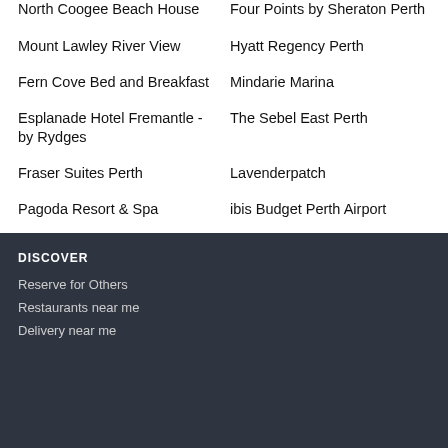North Coogee Beach House
Four Points by Sheraton Perth
Mount Lawley River View
Hyatt Regency Perth
Fern Cove Bed and Breakfast
Mindarie Marina
Esplanade Hotel Fremantle - by Rydges
The Sebel East Perth
Fraser Suites Perth
Lavenderpatch
Pagoda Resort & Spa
ibis Budget Perth Airport
DISCOVER
Reserve for Others
Restaurants near me
Delivery near me